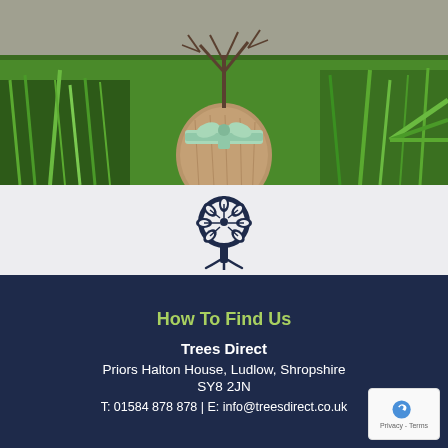[Figure (photo): A tree or plant with bare branches wrapped in burlap/hessian sacking tied with a light green ribbon, set against a background of green grass and foliage]
[Figure (logo): Trees Direct logo — a stylized dark navy tree with decorative leaf patterns and roots, icon only]
How To Find Us
Trees Direct
Priors Halton House, Ludlow, Shropshire
SY8 2JN
T: 01584 878 878  |  E: info@treesdirect.co.uk